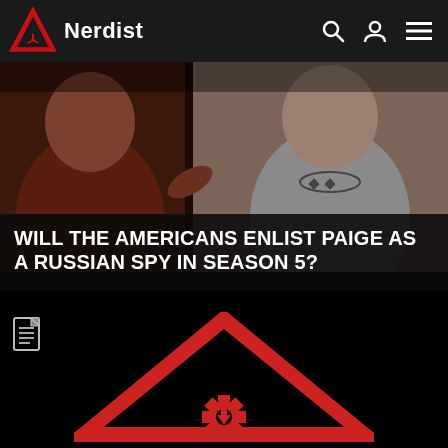Nerdist
[Figure (photo): Photo of two people indoors, one in a dark red/maroon jacket on the left, another in a grey hoodie with a necklace on the right. The image appears to be a still from the TV show The Americans.]
WILL THE AMERICANS ENLIST PAIGE AS A RUSSIAN SPY IN SEASON 5?
[Figure (logo): Large red Nerdist triangle logo on black background — an outlined red triangle with a red star/asterisk symbol inside at the bottom center.]